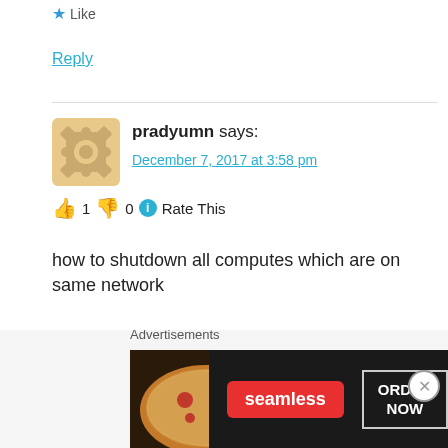★ Like
Reply
pradyumn says:
December 7, 2017 at 3:58 pm
👍 1 👎 0 ℹ Rate This
how to shutdown all computes which are on same network
★ Like
Reply
Advertisements